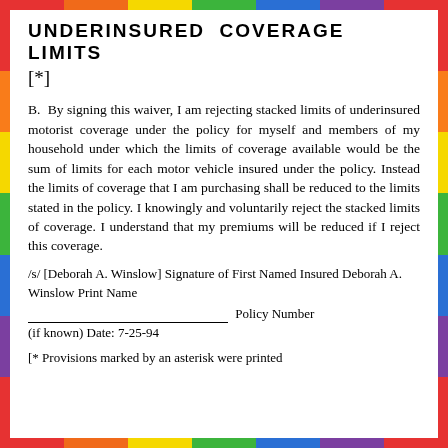UNDERINSURED COVERAGE LIMITS
[*]
B. By signing this waiver, I am rejecting stacked limits of underinsured motorist coverage under the policy for myself and members of my household under which the limits of coverage available would be the sum of limits for each motor vehicle insured under the policy. Instead the limits of coverage that I am purchasing shall be reduced to the limits stated in the policy. I knowingly and voluntarily reject the stacked limits of coverage. I understand that my premiums will be reduced if I reject this coverage.
/s/ [Deborah A. Winslow] Signature of First Named Insured Deborah A. Winslow Print Name ___________________________ Policy Number (if known) Date: 7-25-94
[* Provisions marked by an asterisk were printed